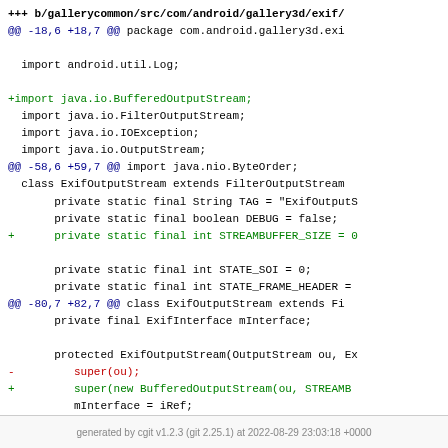[Figure (screenshot): Git diff output showing code changes to ExifOutputStream.java in gallerycommon Android source. Shows addition of BufferedOutputStream import, new STREAMBUFFER_SIZE constant, and replacement of super(ou) with super(new BufferedOutputStream(ou, STREAMB...)).]
generated by cgit v1.2.3 (git 2.25.1) at 2022-08-29 23:03:18 +0000